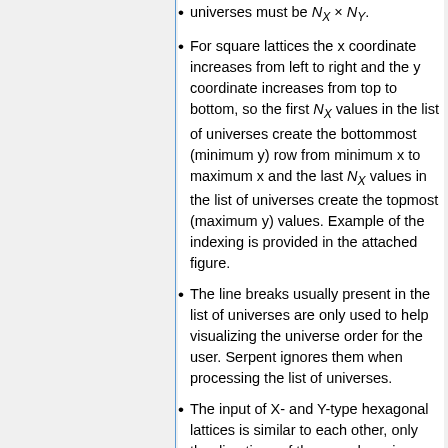For square lattices the x coordinate increases from left to right and the y coordinate increases from top to bottom, so the first N_X values in the list of universes create the bottommost (minimum y) row from minimum x to maximum x and the last N_X values in the list of universes create the topmost (maximum y) values. Example of the indexing is provided in the attached figure.
The line breaks usually present in the list of universes are only used to help visualizing the universe order for the user. Serpent ignores them when processing the list of universes.
The input of X- and Y-type hexagonal lattices is similar to each other, only the directions of the x- and y-axis change. The x direction and...